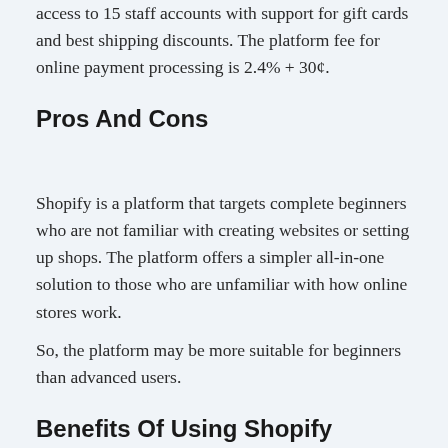access to 15 staff accounts with support for gift cards and best shipping discounts. The platform fee for online payment processing is 2.4% + 30¢.
Pros And Cons
Shopify is a platform that targets complete beginners who are not familiar with creating websites or setting up shops. The platform offers a simpler all-in-one solution to those who are unfamiliar with how online stores work.
So, the platform may be more suitable for beginners than advanced users.
Benefits Of Using Shopify